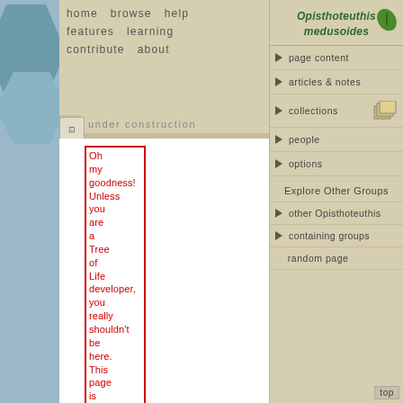home  browse  help  features  learning  contribute  about
advanced
roject
under construction
Oh my goodness! Unless you are a Tree of Life developer, you really shouldn't be here. This page is part of our beta test site, where
Opisthoteuthis medusoides
page content
articles & notes
collections
people
options
Explore Other Groups
other Opisthoteuthis
containing groups
random page
top